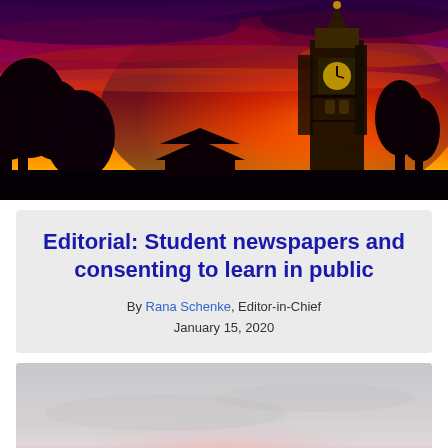[Figure (photo): Dramatic red and purple sunset sky behind silhouetted trees and a university clock tower with gold finial]
Editorial: Student newspapers and consenting to learn in public
By Rana Schenke, Editor-in-Chief
January 15, 2020
[Figure (photo): Hazy overcast sky at sunrise or sunset with a faint pinkish-red glow near the horizon over a flat landscape]